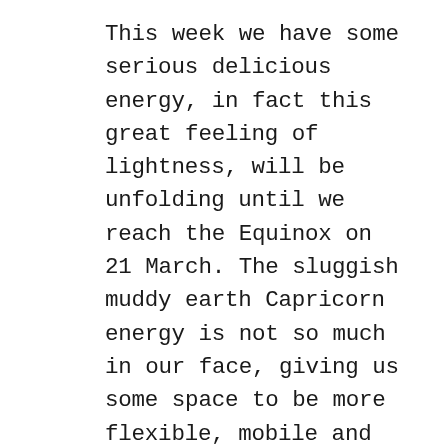This week we have some serious delicious energy, in fact this great feeling of lightness, will be unfolding until we reach the Equinox on 21 March. The sluggish muddy earth Capricorn energy is not so much in our face, giving us some space to be more flexible, mobile and free. Love, unconditional love, is a state of being that only sparks from within each of us, if we give ourselves permission to dive deep into the energy of our Sun in Pisces, with Venus and Neptune we can be receptive to our emotional and psychological need for the courage to independently heal ourselves from within ourselves. The cosmic ocean, allures our inner focus layer by layer, time after time so we can, with grace, bring attention to our shadow or self negligence of our personal healing work. Addressing those